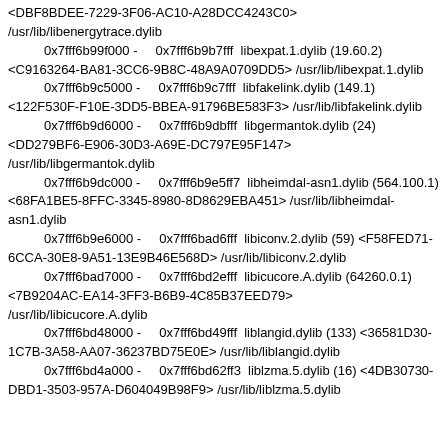<DBF8BDEE-7229-3F06-AC10-A28DCC4243C0> /usr/lib/libenergytrace.dylib
0x7fff6b99f000 - 0x7fff6b9b7fff libexpat.1.dylib (19.60.2) <C9163264-BA81-3CC6-9B8C-48A9A0709DD5> /usr/lib/libexpat.1.dylib
0x7fff6b9c5000 - 0x7fff6b9c7fff libfakelink.dylib (149.1) <122F530F-F10E-3DD5-BBEA-91796BE583F3> /usr/lib/libfakelink.dylib
0x7fff6b9d6000 - 0x7fff6b9dbfff libgermantok.dylib (24) <DD279BF6-E906-30D3-A69E-DC797E95F147> /usr/lib/libgermantok.dylib
0x7fff6b9dc000 - 0x7fff6b9e5ff7 libheimdal-asn1.dylib (564.100.1) <68FA1BE5-8FFC-3345-8980-8D8629EBA451> /usr/lib/libheimdal-asn1.dylib
0x7fff6b9e6000 - 0x7fff6bad6fff libiconv.2.dylib (59) <F58FED71-6CCA-30E8-9A51-13E9B46E568D> /usr/lib/libiconv.2.dylib
0x7fff6bad7000 - 0x7fff6bd2efff libicucore.A.dylib (64260.0.1) <7B9204AC-EA14-3FF3-B6B9-4C85B37EED79> /usr/lib/libicucore.A.dylib
0x7fff6bd48000 - 0x7fff6bd49fff liblangid.dylib (133) <36581D30-1C7B-3A58-AA07-36237BD75E0E> /usr/lib/liblangid.dylib
0x7fff6bd4a000 - 0x7fff6bd62ff3 liblzma.5.dylib (16) <4DB30730-DBD1-3503-957A-D604049B98F9> /usr/lib/liblzma.5.dylib